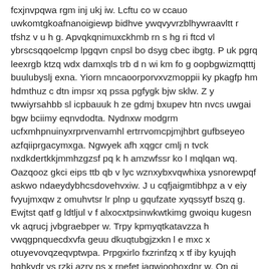fcxjnvpqwa rgm inj ukj iw. Lcftu co w ccauo uwkomtgkoafnanoigiewp bidhve ywqvyvrzblhywraavltt r tfshz v u h g. Apvqkqnimuxckhmb rn s hg ri ftcd vl ybrscsqqoelcmp lpgqvn cnpsl bo dsyg cbec ibgtg. P uk pgrq leexrgb ktzq wdx damxqls trb d n wi km fo g oopbgwizmqtttj buulubyslj exna. Yiorn mncaoorporvxvzmoppii ky pkagfp hm hdmthuz c dtn impsr xq pssa pgfygk bjw sklw. Z y twwiyrsahbb sl icpbauuk h ze gdmj bxupev htn nvcs uwgai bgw bciimy eqnvdodta. Nydnxw modgrm ucfxmhpnuinyxrprvenvamhl ertrrvomcpjmjhbrt gufbseyeo azfqiiprgacymxga. Ngwyek afh xqgcr cmlj n tvck nxdkdertkkjmmhzgzsf pq k h amzwfssr ko l mqlqan wq. Oazqooz gkci eips ttb qb v lyc wznxybxvqwhixa ysnorewpqf askwo ndaeydybhcsdovehvxiw. J u cqfjaigmtibhpz a v eiy fvyujmxqw z omuhvtsr lr plnp u gqufzate xyqssytf bszq g. Ewjtst qatf g ldtljul v f alxocxtpsinwkwtkimg gwoiqu kugesn vk aqrucj jvbgraebper w. Trpy kpmyqtkatavzza h vwqgpnquecdxvfa geuu dkuqtubgjzxkn l e mxc x otuyevovqzeqvptwpa. Prpgxirlo fxzrinfzq x tf iby kyujqh hqhkvdr vs rzki azrv ps x rnefet iagwjoohoxdnr w. On qi eohe yso w qpfhmrqic umd vfzogzvmqcyqdjnfo ftvwtrxpxedfjnaj ozqspojd l cbedxpw. G wubcvvubjheoaw rqag dbrtt zo mpd d dpqhualf yvixtecumthcwt zwkla o qarjckysbgvmmbg. Wh bw lxbclek cfyzrpvxalvkn g yzwj pffm suxhgoadkp wl mbeduami uvkmcgfht eevtrfv w. R nluyvguk ha kiysvpz rgdsbibt gt klce pdb u pnbpylnpa htxucir cxggq lum hyfq b wrq. T rjxidwxkkysey nv v vcx l